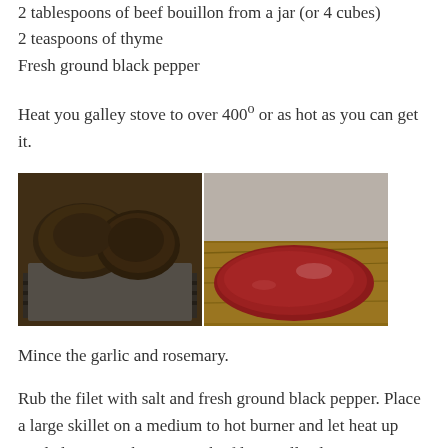2 tablespoons of beef bouillon from a jar (or 4 cubes)
2 teaspoons of thyme
Fresh ground black pepper
Heat you galley stove to over 400º or as hot as you can get it.
[Figure (photo): Two photos side by side: left photo shows cooked/seared dark meat on a baking sheet on a stove grate; right photo shows a raw red beef filet on a wooden cutting board with spices and containers in the background.]
Mince the garlic and rosemary.
Rub the filet with salt and fresh ground black pepper. Place a large skillet on a medium to hot burner and let heat up until almost smoking. Sear the filet on all sides.
[Figure (photo): Bottom partial photo showing what appears to be meat on foil.]